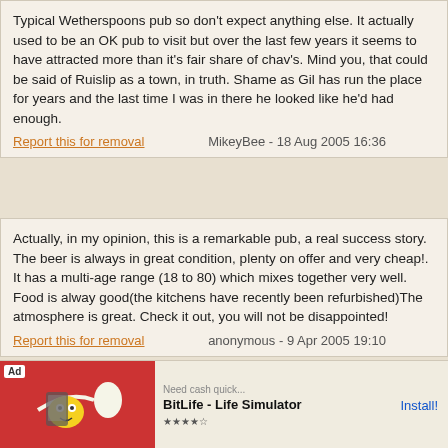Typical Wetherspoons pub so don't expect anything else. It actually used to be an OK pub to visit but over the last few years it seems to have attracted more than it's fair share of chav's. Mind you, that could be said of Ruislip as a town, in truth. Shame as Gil has run the place for years and the last time I was in there he looked like he'd had enough.
Report this for removal  MikeyBee - 18 Aug 2005 16:36
Actually, in my opinion, this is a remarkable pub, a real success story. The beer is always in great condition, plenty on offer and very cheap!. It has a multi-age range (18 to 80) which mixes together very well. Food is alway good(the kitchens have recently been refurbished)The atmosphere is great. Check it out, you will not be disappointed!
Report this for removal  anonymous - 9 Apr 2005 19:10
As w... elly old men,... er;
[Figure (infographic): Advertisement for BitLife - Life Simulator app with red background, cartoon character and Install! button]